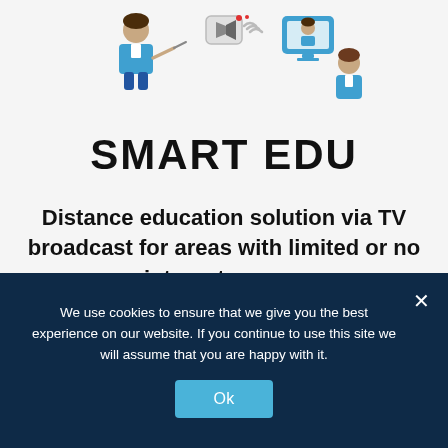[Figure (illustration): Icons showing a teacher with a pointer, a broadcast/speaker icon with wifi signals, and students watching on a screen]
SMART EDU
Distance education solution via TV broadcast for areas with limited or no internet access
We use cookies to ensure that we give you the best experience on our website. If you continue to use this site we will assume that you are happy with it.